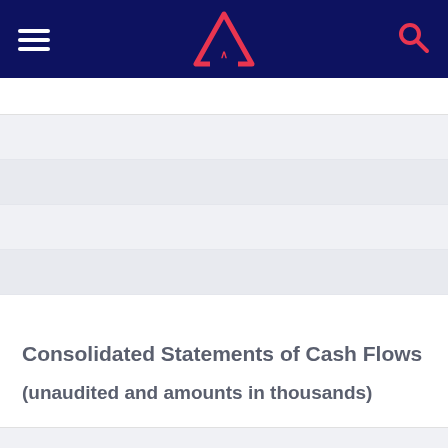Consolidated Statements of Cash Flows
(unaudited and amounts in thousands)